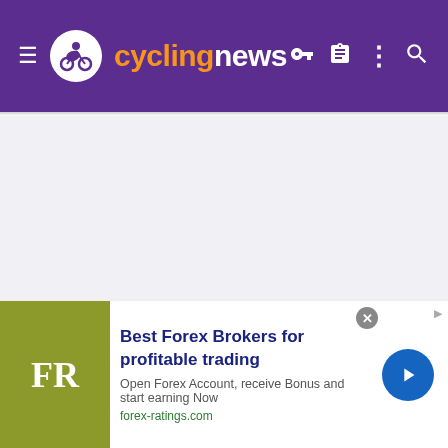cyclingnews
[Figure (screenshot): Empty content area, light grey background]
sniper
[Figure (infographic): Advertisement banner: FR logo (green-yellow square), Best Forex Brokers for profitable trading, Open Forex Account, receive Bonus and start earning Now, forex-ratings.com]